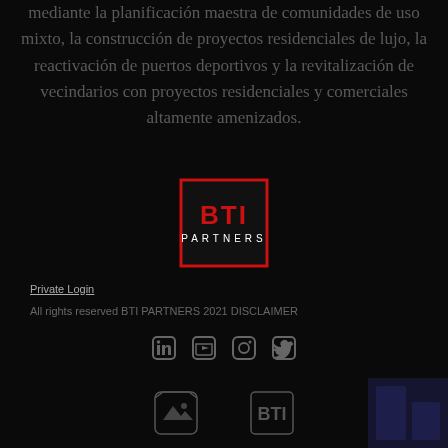mediante la planificación maestra de comunidades de uso mixto, la construcción de proyectos residenciales de lujo, la reactivación de puertos deportivos y la revitalización de vecindarios con proyectos residenciales y comerciales altamente amenizados.
[Figure (logo): BTI Partners logo - red border square with red BTI text and white PARTNERS text below]
NOTICIAS
Private Login
All rights reserved BTI PARTNERS 2021 DISCLAIMER
[Figure (illustration): Social media icons: LinkedIn, YouTube, Instagram, Facebook]
[Figure (illustration): Bottom icons row: camera/home icon, BTI logo icon, partial dark image bottom right]